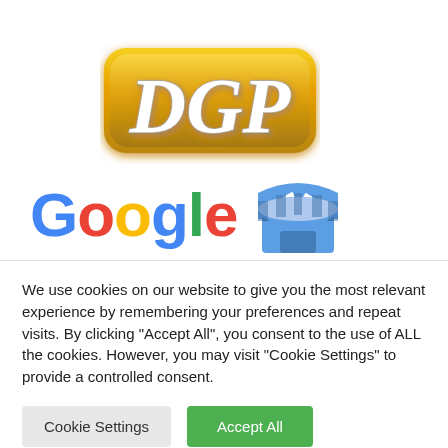[Figure (logo): DGP logo with gold/metallic 3D lettering on white background]
[Figure (logo): Google wordmark in multicolor (blue G, red o, yellow o, green g, blue l, red e) with a Google My Business store icon to the right]
We use cookies on our website to give you the most relevant experience by remembering your preferences and repeat visits. By clicking "Accept All", you consent to the use of ALL the cookies. However, you may visit "Cookie Settings" to provide a controlled consent.
Cookie Settings | Accept All